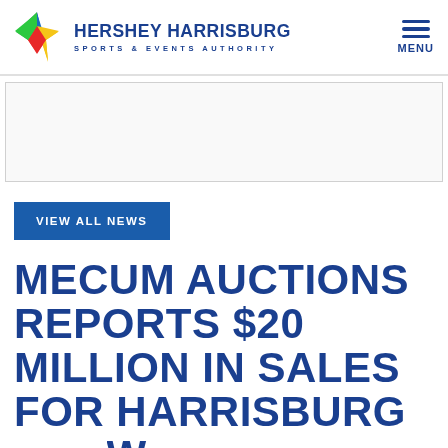HERSHEY HARRISBURG SPORTS & EVENTS AUTHORITY
[Figure (logo): Hershey Harrisburg Sports & Events Authority star logo and wordmark]
[Figure (other): Advertisement banner placeholder]
VIEW ALL NEWS
MECUM AUCTIONS REPORTS $20 MILLION IN SALES FOR HARRISBURG SHOW